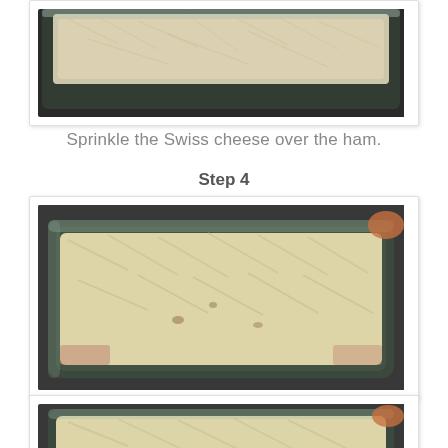[Figure (photo): Top portion of a glass baking dish with ham topped with shredded Swiss cheese, viewed from above on a dark countertop]
Sprinkle the Swiss cheese over the ham.
Step 4
[Figure (photo): Glass baking dish fully covered with shredded cheese over ham layers, on a dark granite countertop]
[Figure (photo): Another view of the glass baking dish with cheese-covered ham casserole on dark countertop]